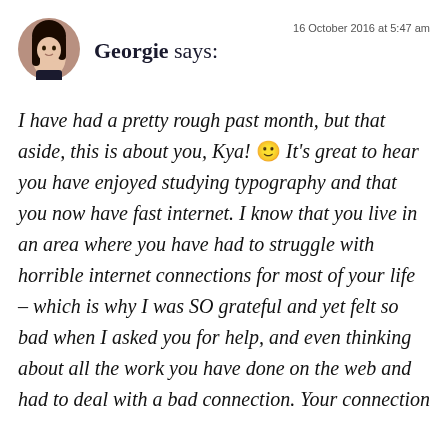[Figure (photo): Circular avatar photo of a young woman with dark hair]
Georgie says:
16 October 2016 at 5:47 am
I have had a pretty rough past month, but that aside, this is about you, Kya! 🙂 It's great to hear you have enjoyed studying typography and that you now have fast internet. I know that you live in an area where you have had to struggle with horrible internet connections for most of your life – which is why I was SO grateful and yet felt so bad when I asked you for help, and even thinking about all the work you have done on the web and had to deal with a bad connection. Your connection...